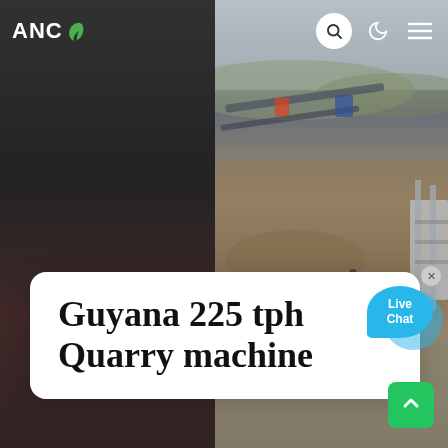[Figure (screenshot): Website screenshot showing ANC logo in top-left, navigation icons (search, moon, menu) in top-right, an aerial photo of a quarry/mining site as background, a white card overlay with the title 'Guyana 225 tph Quarry machine', a live chat bubble, slider dots at bottom, and a green scroll-to-top button.]
Guyana 225 tph Quarry machine